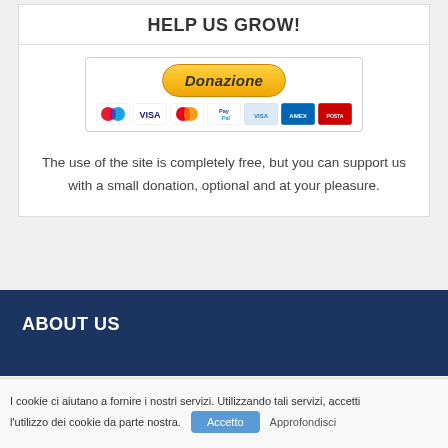HELP US GROW!
[Figure (other): PayPal donation button with payment method icons (Maestro, VISA, MasterCard, PayPal, and others)]
The use of the site is completely free, but you can support us with a small donation, optional and at your pleasure.
ABOUT US
I cookie ci aiutano a fornire i nostri servizi. Utilizzando tali servizi, accetti l'utilizzo dei cookie da parte nostra. Accetto Approfondisci